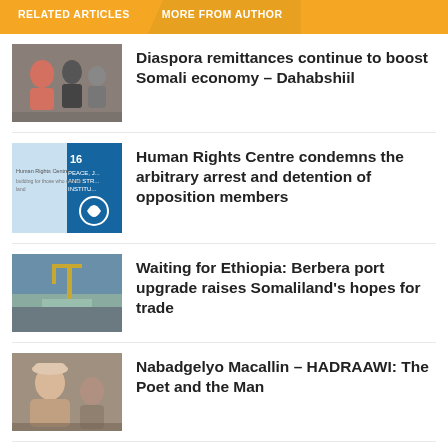RELATED ARTICLES   MORE FROM AUTHOR
Diaspora remittances continue to boost Somali economy – Dahabshiil
Human Rights Centre condemns the arbitrary arrest and detention of opposition members
Waiting for Ethiopia: Berbera port upgrade raises Somaliland's hopes for trade
Nabadgelyo Macallin – HADRAAWI: The Poet and the Man
Prof: Sulaiman Ahmed Gulaid; An